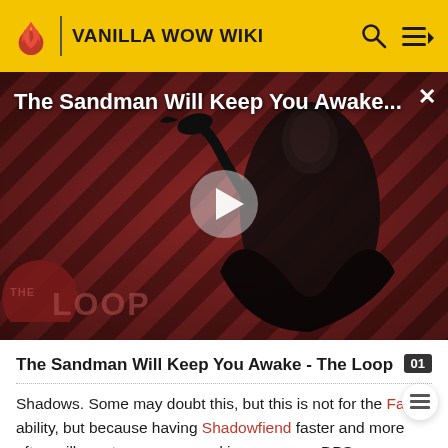VANILLA WOW WIKI
[Figure (screenshot): Video thumbnail for 'The Sandman Will Keep You Awake...' showing a dark figure in a black cape against a red and black diagonal striped background. A play button is overlaid in the center. 'THE LOOP' watermark appears at bottom left.]
The Sandman Will Keep You Awake - The Loop
Shadows. Some may doubt this, but this is not for the Fade ability, but because having Shadowfiend faster and more often will grant you mana, and improve your DPS,